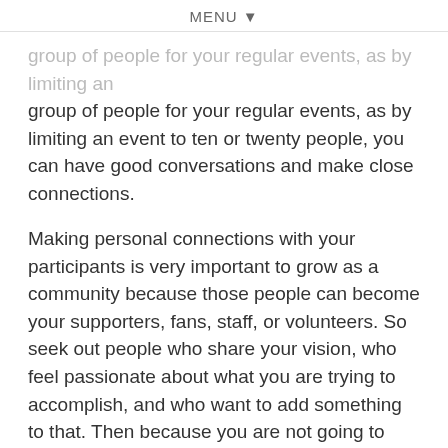MENU ▼
group of people for your regular events, as by limiting an event to ten or twenty people, you can have good conversations and make close connections.
Making personal connections with your participants is very important to grow as a community because those people can become your supporters, fans, staff, or volunteers. So seek out people who share your vision, who feel passionate about what you are trying to accomplish, and who want to add something to that. Then because you are not going to able to connect with everybody personally, encourage your community to connect with other people themselves.
Charles used this strategy of making connections to great success. In 2002, when they incorporated only three